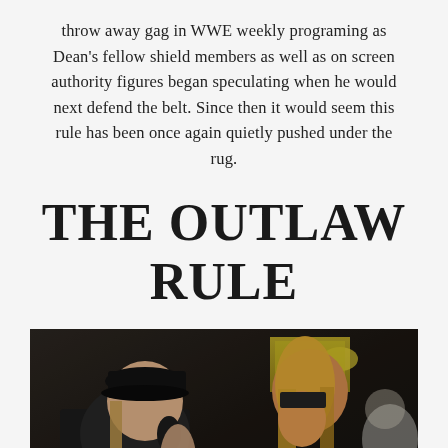throw away gag in WWE weekly programing as Dean's fellow shield members as well as on screen authority figures began speculating when he would next defend the belt. Since then it would seem this rule has been once again quietly pushed under the rug.
THE OUTLAW RULE
[Figure (photo): Two WWE wrestlers facing each other at a microphone, one wearing a black cap and sleeveless vest on the left, the other with long blonde hair and a bandana on the right, in an arena setting]